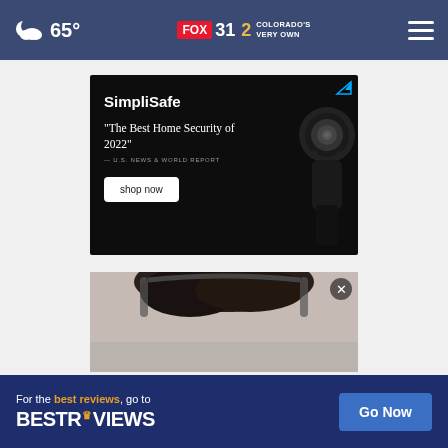65° FOX 31 2 COLORADO'S VERY OWN
[Figure (screenshot): SimpliSafe advertisement showing a home security camera on a black background with text: SimpliSafe, 'The Best Home Security of 2022' — U.S. NEWS & WORLD REPORT, shop now button]
[Figure (photo): Partial photo of a person with dark hair, with a close (X) button overlay]
[Figure (screenshot): BestReviews advertisement: 'For the best reviews, go to BESTREVIEWS' with 'Go Now' button on dark blue background]